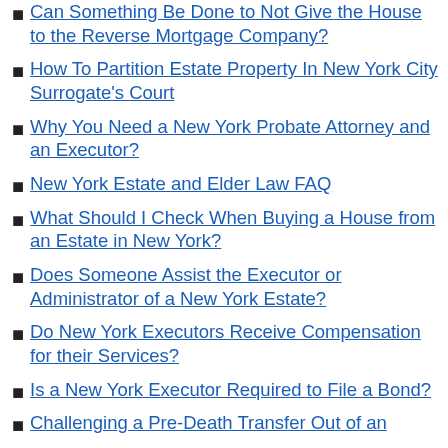Can Something Be Done to Not Give the House to the Reverse Mortgage Company?
How To Partition Estate Property In New York City Surrogate's Court
Why You Need a New York Probate Attorney and an Executor?
New York Estate and Elder Law FAQ
What Should I Check When Buying a House from an Estate in New York?
Does Someone Assist the Executor or Administrator of a New York Estate?
Do New York Executors Receive Compensation for their Services?
Is a New York Executor Required to File a Bond?
Challenging a Pre-Death Transfer Out of an